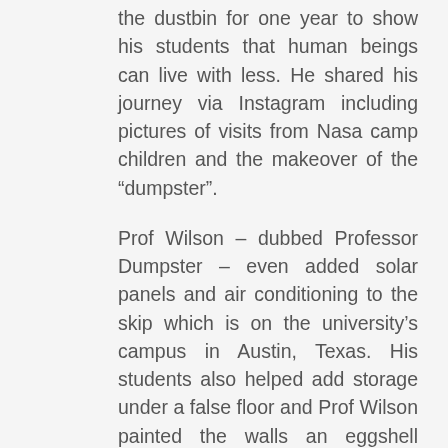the dustbin for one year to show his students that human beings can live with less. He shared his journey via Instagram including pictures of visits from Nasa camp children and the makeover of the “dumpster”.
Prof Wilson – dubbed Professor Dumpster – even added solar panels and air conditioning to the skip which is on the university’s campus in Austin, Texas. His students also helped add storage under a false floor and Prof Wilson painted the walls an eggshell colour,